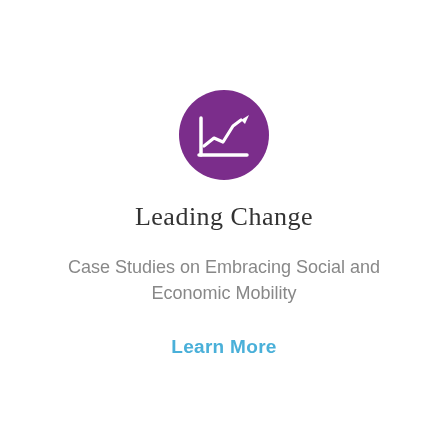[Figure (illustration): Purple circle icon containing a white line chart with an upward trend arrow]
Leading Change
Case Studies on Embracing Social and Economic Mobility
Learn More